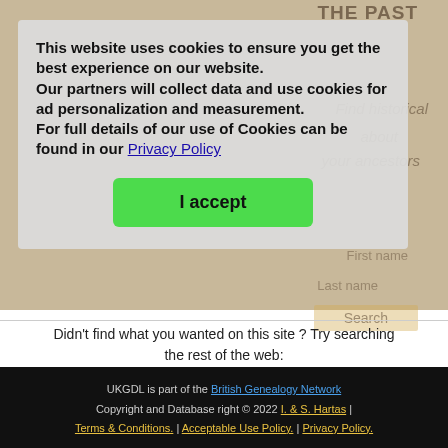[Figure (screenshot): Background of genealogy website showing faded book cover 'Reliving the Past' and search form fields for First name, Last name, and Search button]
This website uses cookies to ensure you get the best experience on our website. Our partners will collect data and use cookies for ad personalization and measurement. For full details of our use of Cookies can be found in our Privacy Policy
I accept
Didn't find what you wanted on this site ? Try searching the rest of the web:
[Figure (logo): Google logo with trademark symbol followed by search input box and Search button]
UKGDL is part of the British Genealogy Network Copyright and Database right © 2022 I. & S. Hartas | Terms & Conditions. | Acceptable Use Policy. | Privacy Policy.